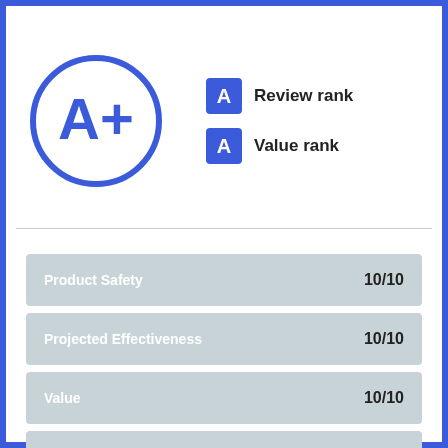[Figure (infographic): A+ grade in a blue circle with Review rank A and Value rank A badges]
| Category | Score |
| --- | --- |
| Product Safety | 10/10 |
| Projected Effectiveness | 10/10 |
| Value | 10/10 |
| Return Policy | 10/10 |
| Customer Satisfaction | 10/10 |